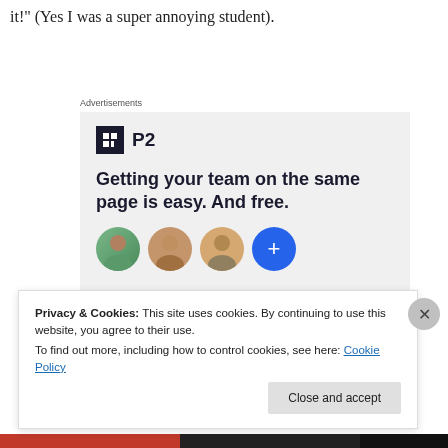it!" (Yes I was a super annoying student).
Advertisements
[Figure (infographic): Advertisement for P2 product. Shows P2 logo (dark square with grid icon and 'P2' text), headline 'Getting your team on the same page is easy. And free.' with four circular avatar images of people below.]
Privacy & Cookies: This site uses cookies. By continuing to use this website, you agree to their use.
To find out more, including how to control cookies, see here: Cookie Policy
Close and accept